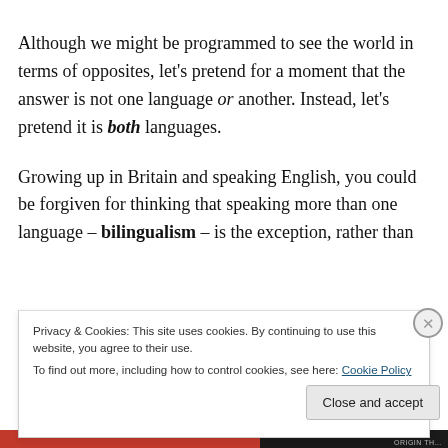Although we might be programmed to see the world in terms of opposites, let's pretend for a moment that the answer is not one language or another. Instead, let's pretend it is both languages.
Growing up in Britain and speaking English, you could be forgiven for thinking that speaking more than one language – bilingualism – is the exception, rather than
Privacy & Cookies: This site uses cookies. By continuing to use this website, you agree to their use.
To find out more, including how to control cookies, see here: Cookie Policy